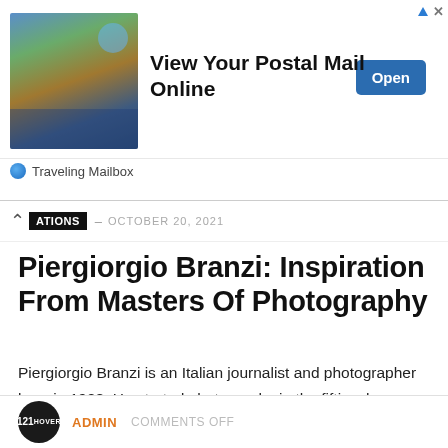[Figure (illustration): Advertisement banner for Traveling Mailbox: View Your Postal Mail Online. Contains an illustrated image of a person at an outdoor cafe by the sea, a bold headline, an Open button, and Traveling Mailbox branding.]
NATIONS – OCTOBER 20, 2021
Piergiorgio Branzi: Inspiration From Masters Of Photography
Piergiorgio Branzi is an Italian journalist and photographer born in 1928. He started photography in the fifties, he traveled extensively in Italy, particularly in the south. Feel the unusual elements of momentary everyday life through the vision of such a gifted photographer. © Piergiorgio Branzi Biography: Raised in Florence ,...
ADMIN   COMMENTS OFF